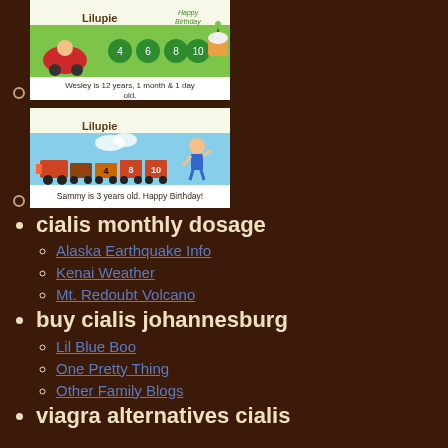[Figure (illustration): Lilupie birthday ticker showing Wesley is 12 years, 1 month & 1 day old, with a child in a red car and birthday cupcake]
[Figure (illustration): Lilupie birthday ticker showing Sammy is 3 years old. Happy Birthday!, with a train and a child]
cialis monthly dosage
Alaska Earthquake Info
Kenai Weather
Mt. Redoubt Volcano
buy cialis johannesburg
Lil Blue Boo
One Pretty Thing
Other Family Blogs
viagra alternatives cialis